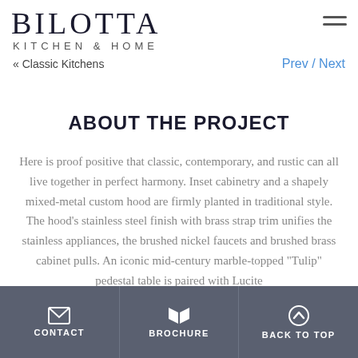BILOTTA KITCHEN & HOME
« Classic Kitchens
Prev / Next
ABOUT THE PROJECT
Here is proof positive that classic, contemporary, and rustic can all live together in perfect harmony. Inset cabinetry and a shapely mixed-metal custom hood are firmly planted in traditional style. The hood's stainless steel finish with brass strap trim unifies the stainless appliances, the brushed nickel faucets and brushed brass cabinet pulls. An iconic mid-century marble-topped "Tulip" pedestal table is paired with Lucite
CONTACT   BROCHURE   BACK TO TOP